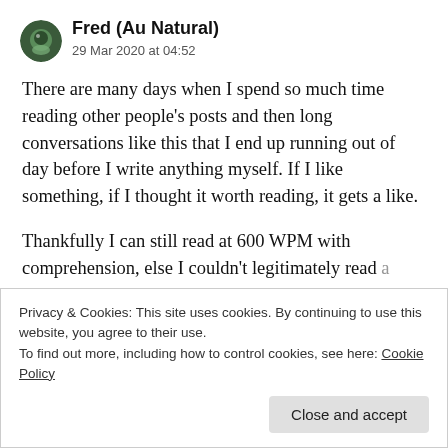Fred (Au Natural) — 29 Mar 2020 at 04:52
There are many days when I spend so much time reading other people's posts and then long conversations like this that I end up running out of day before I write anything myself. If I like something, if I thought it worth reading, it gets a like.
Thankfully I can still read at 600 WPM with comprehension, else I couldn't legitimately read a dozen blog posts a day.
Privacy & Cookies: This site uses cookies. By continuing to use this website, you agree to their use.
To find out more, including how to control cookies, see here: Cookie Policy